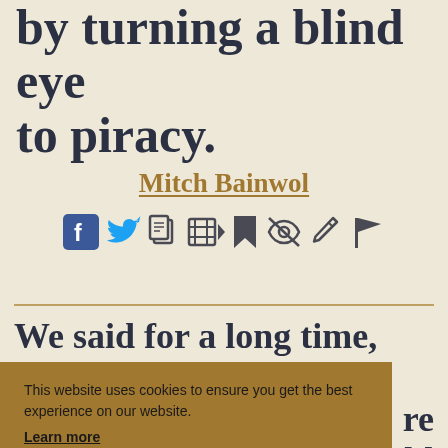by turning a blind eye to piracy.
Mitch Bainwol
[Figure (other): Social sharing icons row: Facebook, Twitter, copy, video, bookmark, hide, edit/pen, flag]
We said for a long time, and no [one] ... re ... ld ... n ... with
This website uses cookies to ensure you get the best experience on our website. Learn more
Got it!